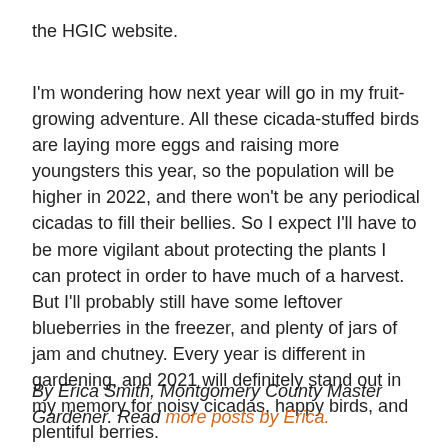the HGIC website.
I'm wondering how next year will go in my fruit-growing adventure. All these cicada-stuffed birds are laying more eggs and raising more youngsters this year, so the population will be higher in 2022, and there won't be any periodical cicadas to fill their bellies. So I expect I'll have to be more vigilant about protecting the plants I can protect in order to have much of a harvest. But I'll probably still have some leftover blueberries in the freezer, and plenty of jars of jam and chutney. Every year is different in gardening, and 2021 will definitely stand out in my memory for noisy cicadas, happy birds, and plentiful berries.
By Erica Smith, Montgomery County Master Gardener. Read more posts by Erica.